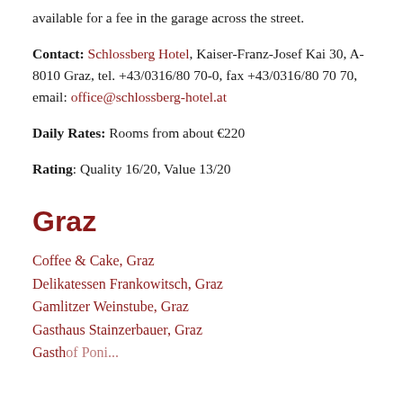available for a fee in the garage across the street.
Contact: Schlossberg Hotel, Kaiser-Franz-Josef Kai 30, A-8010 Graz, tel. +43/0316/80 70-0, fax +43/0316/80 70 70, email: office@schlossberg-hotel.at
Daily Rates: Rooms from about €220
Rating: Quality 16/20, Value 13/20
Graz
Coffee & Cake, Graz
Delikatessen Frankowitsch, Graz
Gamlitzer Weinstube, Graz
Gasthaus Stainzerbauer, Graz
Gast...